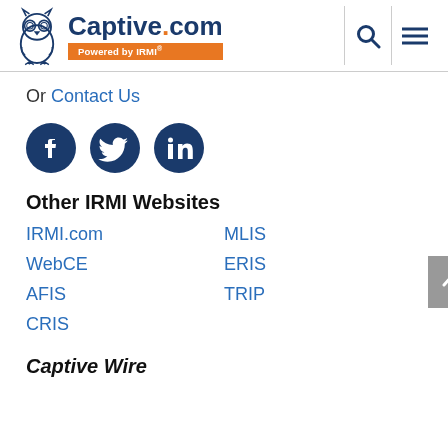Captive.com - Powered by IRMI
Or Contact Us
[Figure (illustration): Three social media icon circles: Facebook, Twitter, LinkedIn in dark navy blue]
Other IRMI Websites
IRMI.com
MLIS
WebCE
ERIS
AFIS
TRIP
CRIS
Captive Wire